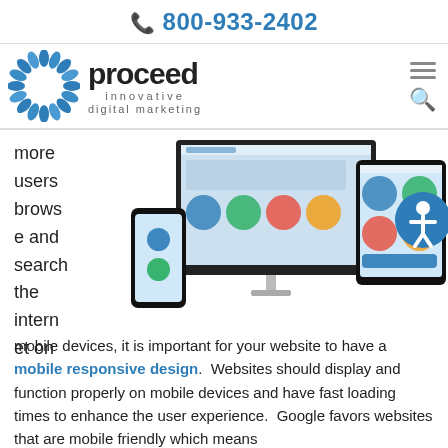📞 800-933-2402
[Figure (logo): Proceed Innovative Digital Marketing logo with sunburst graphic and company name]
[Figure (screenshot): Multi-device mockup showing Proceed Innovative website on desktop monitor, mobile phone, and tablet]
more users browse and search the internet on mobile devices, it is important for your website to have a mobile responsive design.  Websites should display and function properly on mobile devices and have fast loading times to enhance the user experience.  Google favors websites that are mobile friendly which means